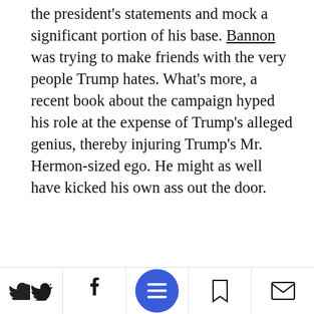the president's statements and mock a significant portion of his base. Bannon was trying to make friends with the very people Trump hates. What's more, a recent book about the campaign hyped his role at the expense of Trump's alleged genius, thereby injuring Trump's Mr. Hermon-sized ego. He might as well have kicked his own ass out the door.
- Advertisment -
[Figure (other): Black advertisement block/banner]
[Figure (screenshot): Bottom navigation toolbar with Twitter, Facebook, menu (blue circle with lines), bookmark, and mail icons]